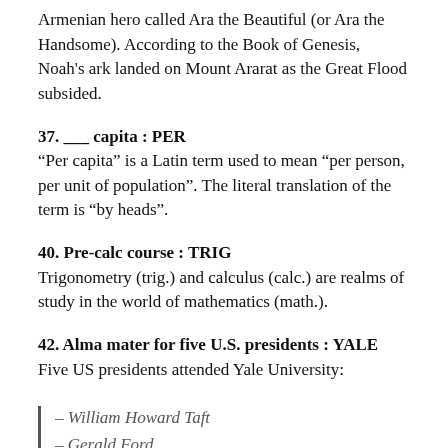Armenian hero called Ara the Beautiful (or Ara the Handsome). According to the Book of Genesis, Noah's ark landed on Mount Ararat as the Great Flood subsided.
37. ___ capita : PER
“Per capita” is a Latin term used to mean “per person, per unit of population”. The literal translation of the term is “by heads”.
40. Pre-calc course : TRIG
Trigonometry (trig.) and calculus (calc.) are realms of study in the world of mathematics (math.).
42. Alma mater for five U.S. presidents : YALE
Five US presidents attended Yale University:
– William Howard Taft
– Gerald Ford